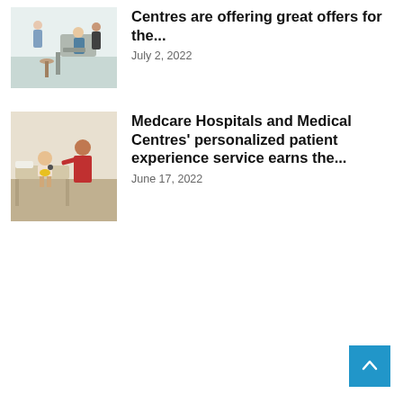[Figure (photo): Dental office interior with medical staff and patient in a clinical room with equipment]
Centres are offering great offers for the...
July 2, 2022
[Figure (photo): Female doctor in red top examining a young child patient sitting on exam table in a medical room]
Medcare Hospitals and Medical Centres' personalized patient experience service earns the...
June 17, 2022